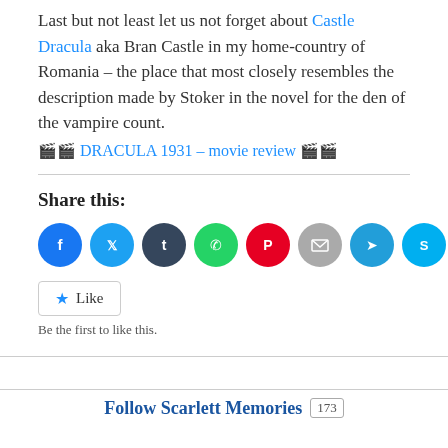Last but not least let us not forget about Castle Dracula aka Bran Castle in my home-country of Romania – the place that most closely resembles the description made by Stoker in the novel for the den of the vampire count.
🎬 DRACULA 1931 – movie review 🎬
Share this:
[Figure (other): Row of social media share buttons: Facebook, Twitter, Tumblr, WhatsApp, Pinterest, Email, Telegram, Skype circles, and a More button]
[Figure (other): Like button widget with star icon]
Be the first to like this.
Follow Scarlett Memories 173